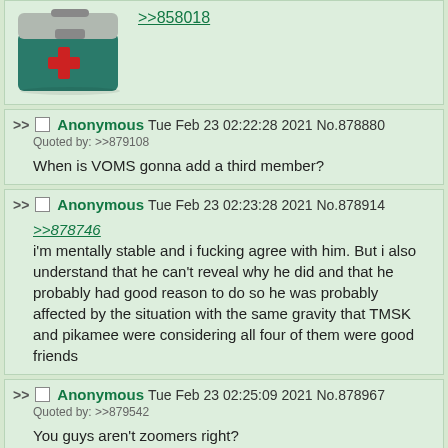[Figure (illustration): A green plastic first-aid/toolbox with a red cross symbol on the front, shown at an angle.]
>>858018
Anonymous Tue Feb 23 02:22:28 2021 No.878880
Quoted by: >>879108

When is VOMS gonna add a third member?
Anonymous Tue Feb 23 02:23:28 2021 No.878914

>>878746
i'm mentally stable and i fucking agree with him. But i also understand that he can't reveal why he did and that he probably had good reason to do so he was probably affected by the situation with the same gravity that TMSK and pikamee were considering all four of them were good friends
Anonymous Tue Feb 23 02:25:09 2021 No.878967
Quoted by: >>879542

You guys aren't zoomers right?